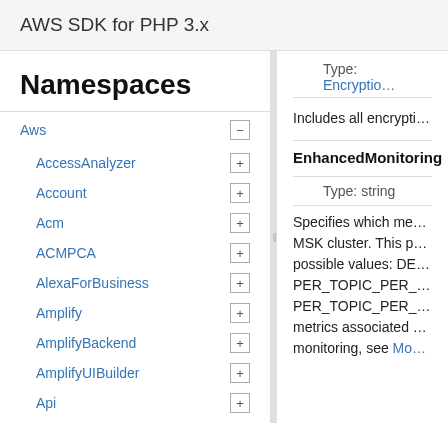AWS SDK for PHP 3.x
Namespaces
Aws
AccessAnalyzer
Account
Acm
ACMPCA
AlexaForBusiness
Amplify
AmplifyBackend
AmplifyUIBuilder
Api
ApiGateway
ApiGatewayManagementApi
Type: EncryptionInfo
Includes all encrypti…
EnhancedMonitoring
Type: string
Specifies which me… MSK cluster. This p… possible values: DE… PER_TOPIC_PER_… PER_TOPIC_PER_… metrics associated … monitoring, see Mo…